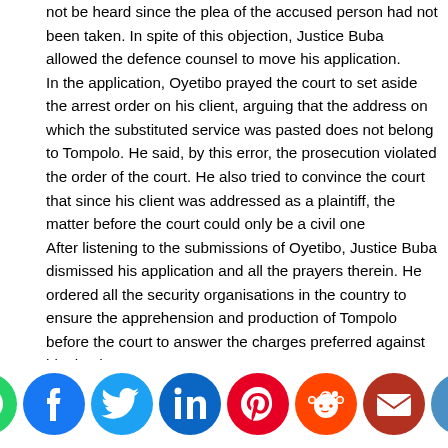not be heard since the plea of the accused person had not been taken. In spite of this objection, Justice Buba allowed the defence counsel to move his application. In the application, Oyetibo prayed the court to set aside the arrest order on his client, arguing that the address on which the substituted service was pasted does not belong to Tompolo. He said, by this error, the prosecution violated the order of the court. He also tried to convince the court that since his client was addressed as a plaintiff, the matter before the court could only be a civil one After listening to the submissions of Oyetibo, Justice Buba dismissed his application and all the prayers therein. He ordered all the security organisations in the country to ensure the apprehension and production of Tompolo before the court to answer the charges preferred against him by the EFCC. He also said that EFCC prosecutors told the court that it is allowed to...
[Figure (infographic): Social media share icons: WhatsApp (green), Facebook (blue), Twitter (light blue), LinkedIn (dark blue), Pinterest (red), Reddit (orange), Email (dark red), Print (blue/grey)]